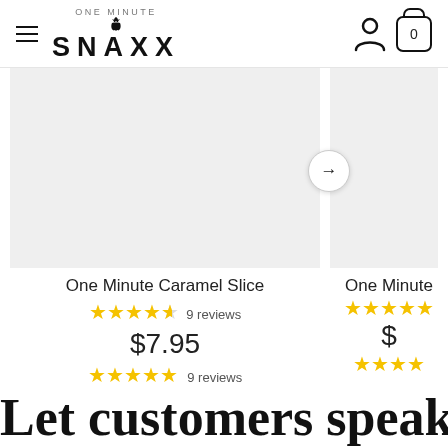SNAXX (One Minute) — navigation bar with hamburger menu, account icon, and cart icon showing 0
[Figure (photo): Product image placeholder (light gray background) for One Minute Caramel Slice]
One Minute Caramel Slice
★★★★½ 9 reviews
$7.95
★★★★★ 9 reviews
[Figure (photo): Partial product image placeholder (light gray background) for a second One Minute product, cropped on right side, with arrow navigation button]
One Minute
★★★★★
$
★★★★
Let customers speak for us